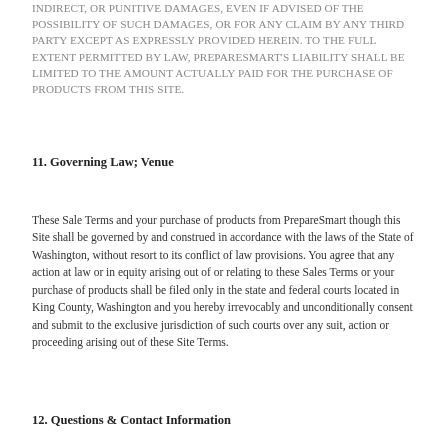INDIRECT, OR PUNITIVE DAMAGES, EVEN IF ADVISED OF THE POSSIBILITY OF SUCH DAMAGES, OR FOR ANY CLAIM BY ANY THIRD PARTY EXCEPT AS EXPRESSLY PROVIDED HEREIN. TO THE FULL EXTENT PERMITTED BY LAW, PREPARESMART'S LIABILITY SHALL BE LIMITED TO THE AMOUNT ACTUALLY PAID FOR THE PURCHASE OF PRODUCTS FROM THIS SITE.
11. Governing Law; Venue
These Sale Terms and your purchase of products from PrepareSmart though this Site shall be governed by and construed in accordance with the laws of the State of Washington, without resort to its conflict of law provisions. You agree that any action at law or in equity arising out of or relating to these Sales Terms or your purchase of products shall be filed only in the state and federal courts located in King County, Washington and you hereby irrevocably and unconditionally consent and submit to the exclusive jurisdiction of such courts over any suit, action or proceeding arising out of these Site Terms.
12. Questions & Contact Information